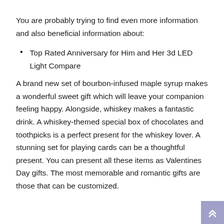You are probably trying to find even more information and also beneficial information about:
Top Rated Anniversary for Him and Her 3d LED Light Compare
A brand new set of bourbon-infused maple syrup makes a wonderful sweet gift which will leave your companion feeling happy. Alongside, whiskey makes a fantastic drink. A whiskey-themed special box of chocolates and toothpicks is a perfect present for the whiskey lover. A stunning set for playing cards can be a thoughtful present. You can present all these items as Valentines Day gifts. The most memorable and romantic gifts are those that can be customized.